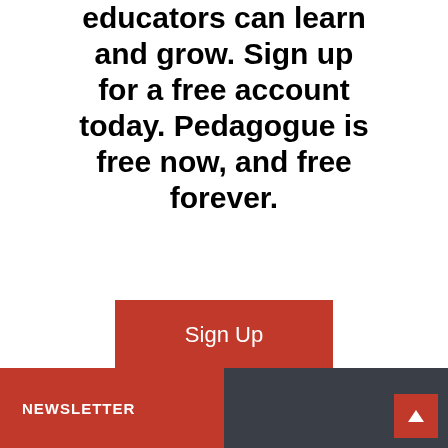educators can learn and grow. Sign up for a free account today. Pedagogue is free now, and free forever.
Sign Up
NEWSLETTER